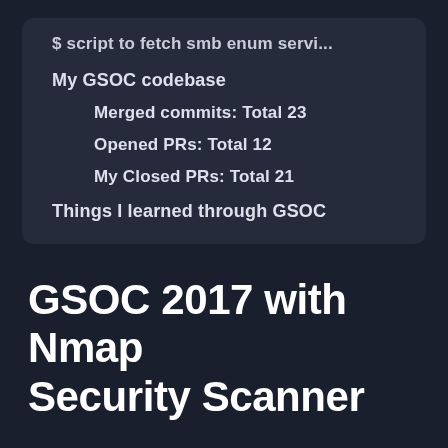$ script to fetch smb enum servi...
My GSOC codebase
Merged commits: Total 23
Opened PRs: Total 12
My Closed PRs: Total 21
Things I learned through GSOC
GSOC 2017 with Nmap Security Scanner
Before we go any further, I thank each and everyone who helped me in my way to achieve